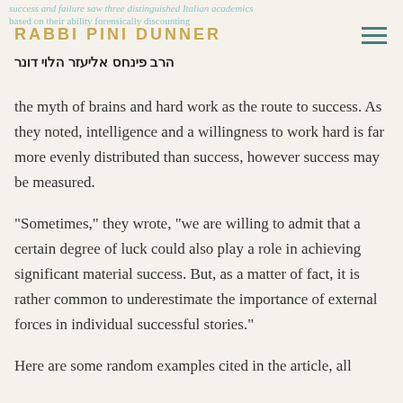RABBI PINI DUNNER | הרב פינחס אליעזר הלוי דונר
the myth of brains and hard work as the route to success. As they noted, intelligence and a willingness to work hard is far more evenly distributed than success, however success may be measured.
“Sometimes,” they wrote, “we are willing to admit that a certain degree of luck could also play a role in achieving significant material success. But, as a matter of fact, it is rather common to underestimate the importance of external forces in individual successful stories.”
Here are some random examples cited in the article, all